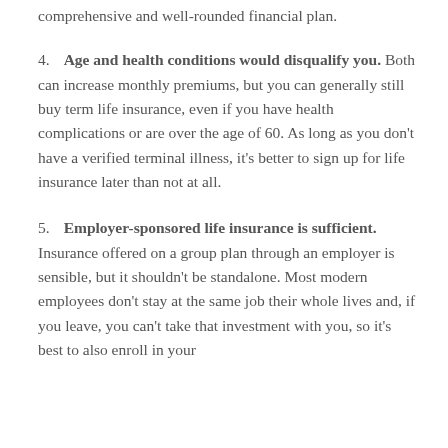comprehensive and well-rounded financial plan.
4. Age and health conditions would disqualify you. Both can increase monthly premiums, but you can generally still buy term life insurance, even if you have health complications or are over the age of 60. As long as you don't have a verified terminal illness, it's better to sign up for life insurance later than not at all.
5. Employer-sponsored life insurance is sufficient. Insurance offered on a group plan through an employer is sensible, but it shouldn't be standalone. Most modern employees don't stay at the same job their whole lives and, if you leave, you can't take that investment with you, so it's best to also enroll in your